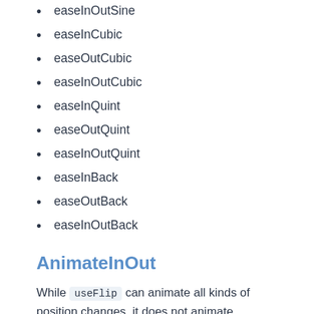easeInOutSine
easeInCubic
easeOutCubic
easeInOutCubic
easeInQuint
easeOutQuint
easeInOutQuint
easeInBack
easeOutBack
easeInOutBack
AnimateInOut
While useFlip can animate all kinds of position changes, it does not animate mount/unmount animations (e.g. fade in/out). For this purpose the